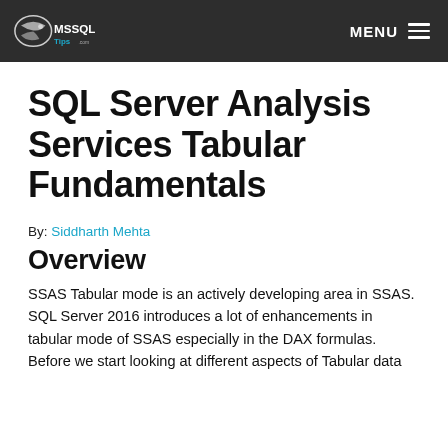MSSQLTips.com | MENU
SQL Server Analysis Services Tabular Fundamentals
By: Siddharth Mehta
Overview
SSAS Tabular mode is an actively developing area in SSAS. SQL Server 2016 introduces a lot of enhancements in tabular mode of SSAS especially in the DAX formulas. Before we start looking at different aspects of Tabular data